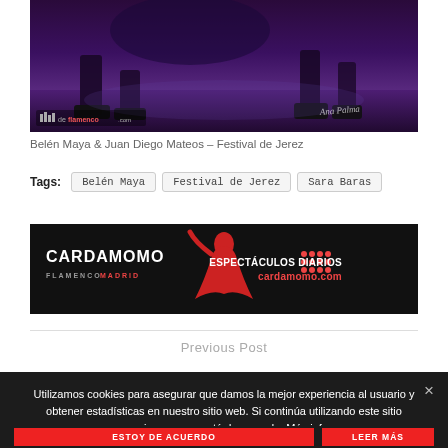[Figure (photo): Photo of flamenco dancers' feet on stage with purple lighting, watermarked with 'deflamenco.com' logo and signature 'Ana Palma']
Belén Maya & Juan Diego Mateos – Festival de Jerez
Tags: Belén Maya   Festival de Jerez   Sara Baras
[Figure (photo): Cardamomo Flamenco Madrid advertisement banner showing a flamenco dancer in red. Text: CARDAMOMO FLAMENCO MADRID ESPECTÁCULOS DIARIOS cardamomo.com]
Previous Post
Utilizamos cookies para asegurar que damos la mejor experiencia al usuario y obtener estadísticas en nuestro sitio web. Si continúa utilizando este sitio asumiremos que está de acuerdo. Más info:
ESTOY DE ACUERDO
LEER MÁS